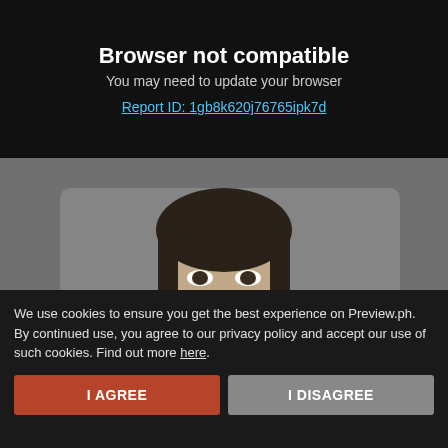Browser not compatible
You may need to update your browser
Report ID: 1gb8k620j76765ipk7d
[Figure (photo): Black and white photo of a young Asian woman (actress Song Yoo Jung) resting her chin on her hands, wearing a light-colored shirt.]
K-Drama Actress Song Yoo Jung Dies at 26
May you rest in peace, Yoo Jung
Preview
Read on App
We use cookies to ensure you get the best experience on Preview.ph. By continued use, you agree to our privacy policy and accept our use of such cookies. Find out more here.
I AGREE
I DISAGREE